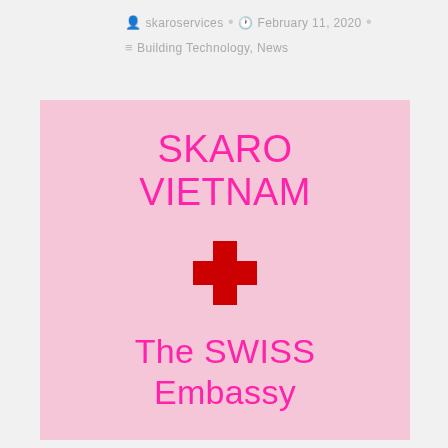skaroservices • February 11, 2020 • Building Technology, News
[Figure (logo): Pink background promotional image showing 'SKARO VIETNAM' in magenta text, a red Swiss cross symbol, and 'The SWISS Embassy' in magenta text below]